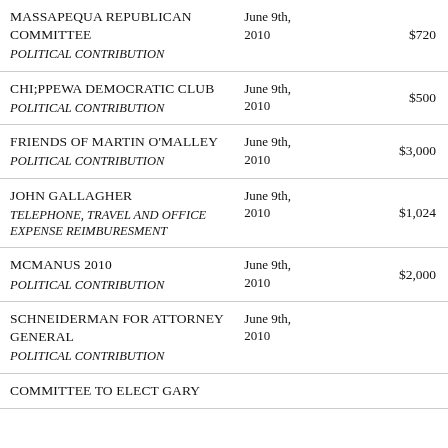| Name / Category | Date | Amount |
| --- | --- | --- |
| MASSAPEQUA REPUBLICAN COMMITTEE
POLITICAL CONTRIBUTION | June 9th, 2010 | $720 |
| CHI;PPEWA DEMOCRATIC CLUB
POLITICAL CONTRIBUTION | June 9th, 2010 | $500 |
| FRIENDS OF MARTIN O'MALLEY
POLITICAL CONTRIBUTION | June 9th, 2010 | $3,000 |
| JOHN GALLAGHER
TELEPHONE, TRAVEL AND OFFICE EXPENSE REIMBURESMENT | June 9th, 2010 | $1,024 |
| MCMANUS 2010
POLITICAL CONTRIBUTION | June 9th, 2010 | $2,000 |
| SCHNEIDERMAN FOR ATTORNEY GENERAL
POLITICAL CONTRIBUTION | June 9th, 2010 |  |
| COMMITTEE TO ELECT GARY |  |  |